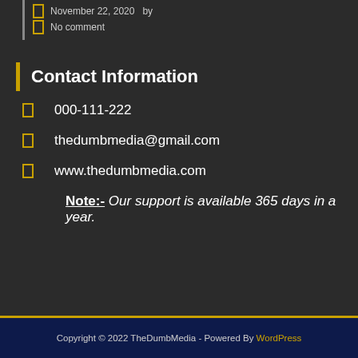November 22, 2020  by
No comment
Contact Information
000-111-222
thedumbmedia@gmail.com
www.thedumbmedia.com
Note:- Our support is available 365 days in a year.
Copyright © 2022 TheDumbMedia - Powered By WordPress